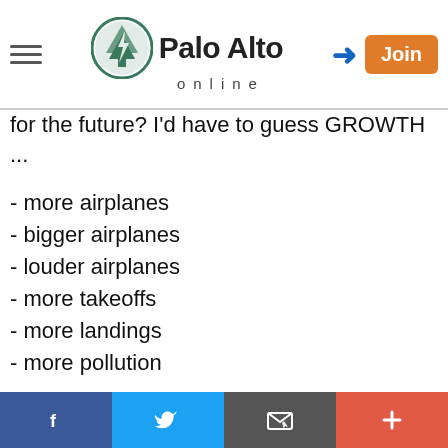Palo Alto online
for the future? I'd have to guess GROWTH ...
- more airplanes
- bigger airplanes
- louder airplanes
- more takeoffs
- more landings
- more pollution
No one expected this, no one voted for this, this has changed in nature from a small private plane takeoff and landing and berthing strip to a full fledged airport, and it has become
Social share bar: Facebook, Twitter, Email, Plus